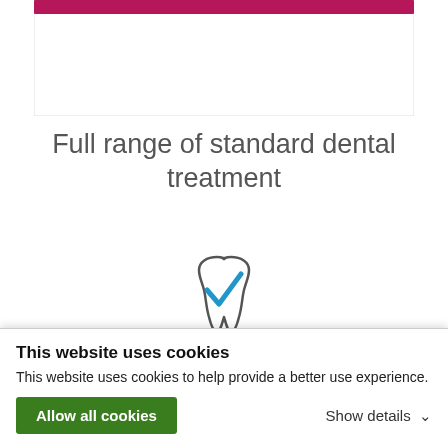[Figure (illustration): Top portion of a card element with a dark pink/crimson horizontal bar at the top]
Full range of standard dental treatment
[Figure (illustration): Icon of a tooth with a blue checkmark inside it, representing dental checkups]
Checkups
[Figure (illustration): Icon of a tooth with sparkle/shine stars around it, partially visible]
This website uses cookies
This website uses cookies to help provide a better use experience.
Allow all cookies
Show details